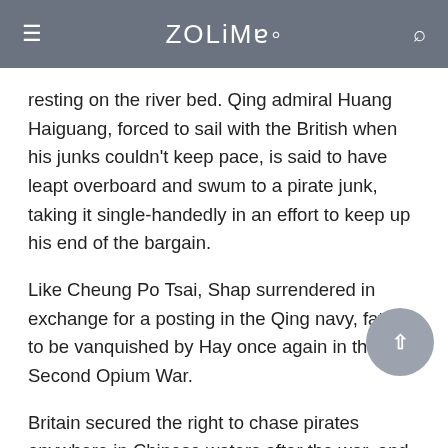ZOLIMA
resting on the river bed. Qing admiral Huang Haiguang, forced to sail with the British when his junks couldn't keep pace, is said to have leapt overboard and swum to a pirate junk, taking it single-handedly in an effort to keep up his end of the bargain.
Like Cheung Po Tsai, Shap surrendered in exchange for a posting in the Qing navy, fated to be vanquished by Hay once again in the Second Opium War.
Britain secured the right to chase pirates anywhere in Chinese waters after the war, and pirate-hunting became a sport for the seamen of the China Station. Bounties offered by the